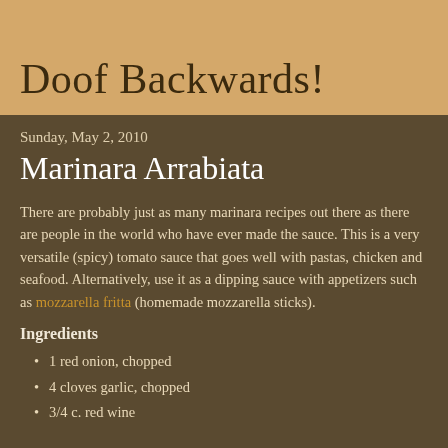Doof Backwards!
Sunday, May 2, 2010
Marinara Arrabiata
There are probably just as many marinara recipes out there as there are people in the world who have ever made the sauce.  This is a very versatile (spicy) tomato sauce that goes well with pastas, chicken and seafood.  Alternatively, use it as a dipping sauce with appetizers such as mozzarella fritta (homemade mozzarella sticks).
Ingredients
1 red onion, chopped
4 cloves garlic, chopped
3/4 c. red wine